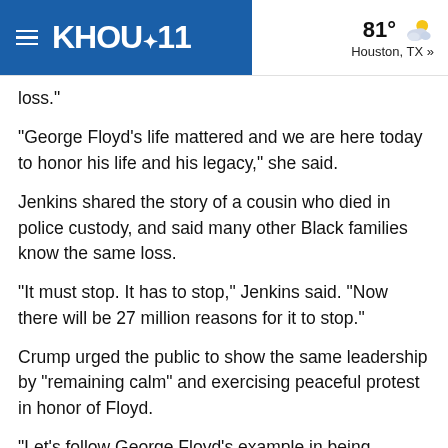KHOU 11 | 81° Houston, TX »
loss."
"George Floyd's life mattered and we are here today to honor his life and his legacy," she said.
Jenkins shared the story of a cousin who died in police custody, and said many other Black families know the same loss.
"It must stop. It has to stop," Jenkins said. "Now there will be 27 million reasons for it to stop."
Crump urged the public to show the same leadership by "remaining calm" and exercising peaceful protest in honor of Floyd.
"Let's follow George Floyd's example in being peaceful as we stand up for justice," he said. "Can we all do that for George Floyd? Can we all do that for our children?"